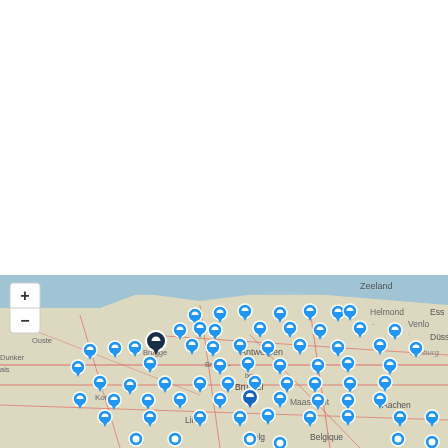[Figure (other): Change units dropdown button with steel blue background and white text]
[Figure (map): Interactive map of Belgium and surrounding regions (Netherlands, France, Germany) with numerous blue location pin markers scattered across the area. Map shows cities including Bruges, Antwerpen, Brussel, Lille, Maastricht, Aachen, Helmond, Venlo, Zeeland, Noord-Brabant, Limburg, Düsseldorf. Zoom controls (+ and -) visible in top-left corner of map.]